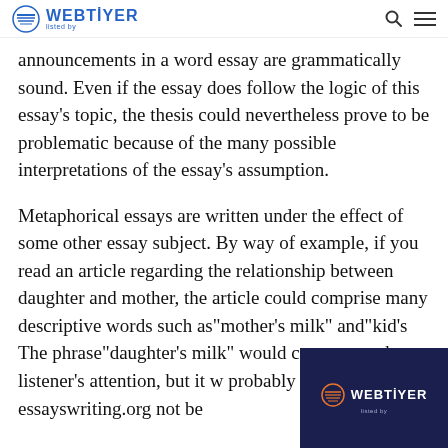WEBTIYER
announcements in a word essay are grammatically sound. Even if the essay does follow the logic of this essay's topic, the thesis could nevertheless prove to be problematic because of the many possible interpretations of the essay's assumption.
Metaphorical essays are written under the effect of some other essay subject. By way of example, if you read an article regarding the relationship between daughter and mother, the article could comprise many descriptive words such as"mother's milk" and"kid's The phrase"daughter's milk" would cer capture the listener's attention, but it w probably about essayswriting.org not be